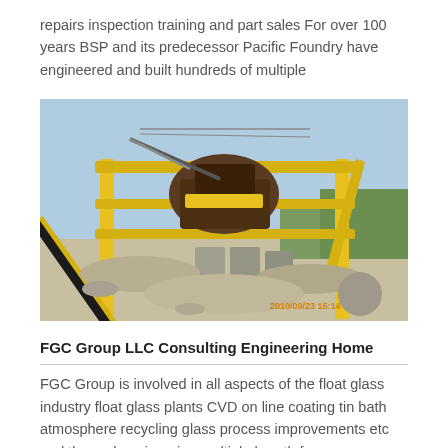repairs inspection training and part sales For over 100 years BSP and its predecessor Pacific Foundry have engineered and built hundreds of multiple
[Figure (photo): Industrial yellow crushing/screening machinery at a mining or quarrying site, with conveyor belts and structural steel frames. A timestamp reads 2010/09/23 15:14 in orange.]
FGC Group LLC Consulting Engineering Home
FGC Group is involved in all aspects of the float glass industry float glass plants CVD on line coating tin bath atmosphere recycling glass process improvements etc and thermal engineering multiple hearth furnaces